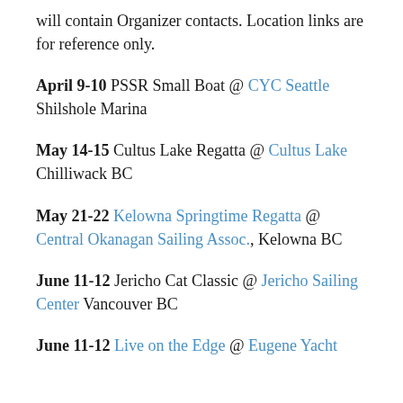will contain Organizer contacts. Location links are for reference only.
April 9-10 PSSR Small Boat @ CYC Seattle Shilshole Marina
May 14-15 Cultus Lake Regatta @ Cultus Lake Chilliwack BC
May 21-22 Kelowna Springtime Regatta @ Central Okanagan Sailing Assoc., Kelowna BC
June 11-12 Jericho Cat Classic @ Jericho Sailing Center Vancouver BC
June 11-12 Live on the Edge @ Eugene Yacht